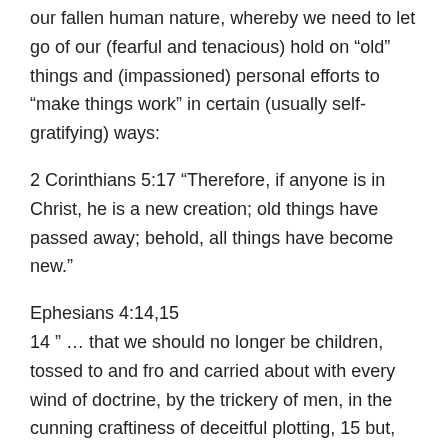our fallen human nature, whereby we need to let go of our (fearful and tenacious) hold on “old” things and (impassioned) personal efforts to “make things work” in certain (usually self-gratifying) ways:
2 Corinthians 5:17 “Therefore, if anyone is in Christ, he is a new creation; old things have passed away; behold, all things have become new.”
Ephesians 4:14,15
14 ” … that we should no longer be children, tossed to and fro and carried about with every wind of doctrine, by the trickery of men, in the cunning craftiness of deceitful plotting, 15 but, speaking the truth in love, may grow up in all